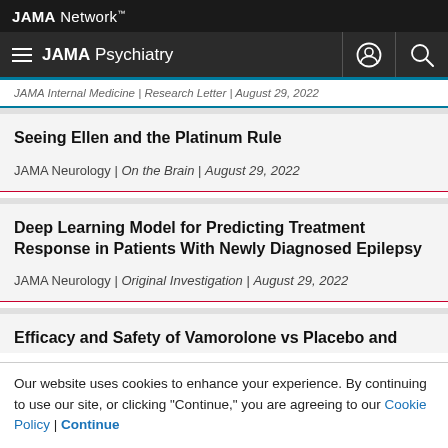JAMA Network
JAMA Psychiatry
JAMA Internal Medicine | Research Letter | August 29, 2022
Seeing Ellen and the Platinum Rule
JAMA Neurology | On the Brain | August 29, 2022
Deep Learning Model for Predicting Treatment Response in Patients With Newly Diagnosed Epilepsy
JAMA Neurology | Original Investigation | August 29, 2022
Efficacy and Safety of Vamorolone vs Placebo and
Our website uses cookies to enhance your experience. By continuing to use our site, or clicking "Continue," you are agreeing to our Cookie Policy | Continue